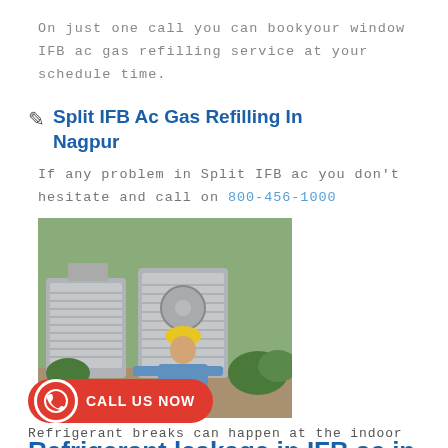On just one call you can bookyour window IFB ac gas refilling service at your schedule time.
✎   Split IFB Ac Gas Refilling In Nagpur
If any problem in Split IFB ac you don't hesitate and call on 800-456-1000
[Figure (photo): A technician wearing a yellow hard hat and blue shirt working on outdoor AC units]
Refrigerant leakage in IFB ac in
CALL US NOW
Refrigerant breaks can happen at the indoor hardware.